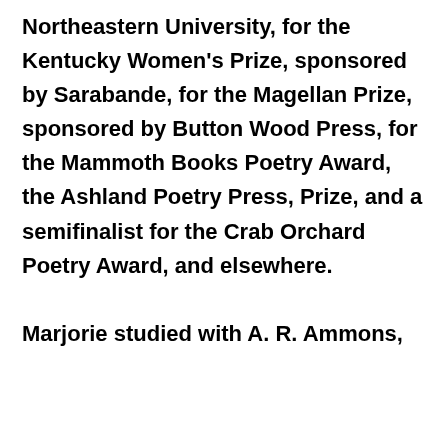Northeastern University, for the Kentucky Women's Prize, sponsored by Sarabande, for the Magellan Prize, sponsored by Button Wood Press, for the Mammoth Books Poetry Award, the Ashland Poetry Press, Prize, and a semifinalist for the Crab Orchard Poetry Award, and elsewhere.

Marjorie studied with A. R. Ammons,